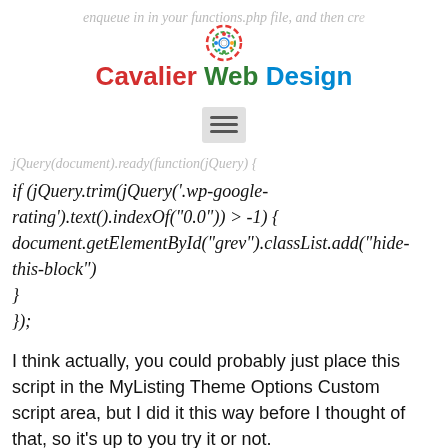enqueue in in your functions.php file, and then create
[Figure (logo): Cavalier Web Design logo with colorful circular icon above the text]
jQuery(document).ready(function(jQuery) {
I think actually, you could probably just place this script in the MyListing Theme Options Custom script area, but I did it this way before I thought of that, so it’s up to you try it or not.